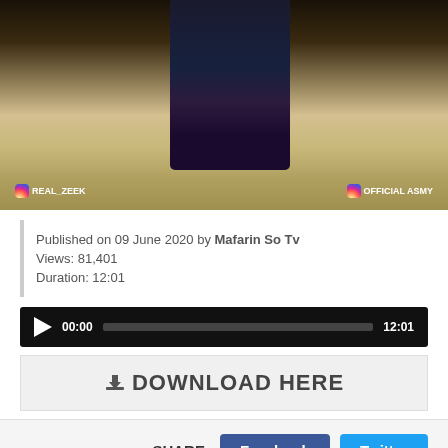[Figure (screenshot): Video thumbnail showing a woman in dark hijab holding papers/book outdoors, with two Instagram watermarks: REAL_ZEEK on left and OFFICIAL ASMY on right. Black background framing.]
Published on 09 June 2020 by Mafarin So Tv
Views: 81,401
Duration: 12:01
[Figure (screenshot): Audio/video player bar with play button, 00:00 timestamp, progress bar, and 12:01 end time on black background]
[Figure (screenshot): Download Here button with download icon on light gray background]
[Figure (screenshot): Share section with SHARE: label, Facebook (dark blue) button and Twitter (cyan blue) button]
[Figure (screenshot): Red rounded Download Now! banner with white arrow icon on the right]